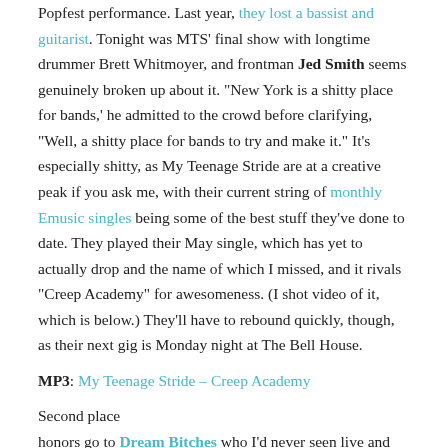Popfest performance. Last year, they lost a bassist and guitarist. Tonight was MTS' final show with longtime drummer Brett Whitmoyer, and frontman Jed Smith seems genuinely broken up about it. "New York is a shitty place for bands,' he admitted to the crowd before clarifying, "Well, a shitty place for bands to try and make it." It's especially shitty, as My Teenage Stride are at a creative peak if you ask me, with their current string of monthly Emusic singles being some of the best stuff they've done to date. They played their May single, which has yet to actually drop and the name of which I missed, and it rivals "Creep Academy" for awesomeness. (I shot video of it, which is below.) They'll have to rebound quickly, though, as their next gig is Monday night at The Bell House.
MP3: My Teenage Stride – Creep Academy
Second place
honors go to Dream Bitches who I'd never seen live and likely never will again as this was supposedly their last show. Too bad, as they were great, sounding more than a little like '90s DC band Tuscadero, with a similar girl-centric POV. Maybe not the most original band, but they do